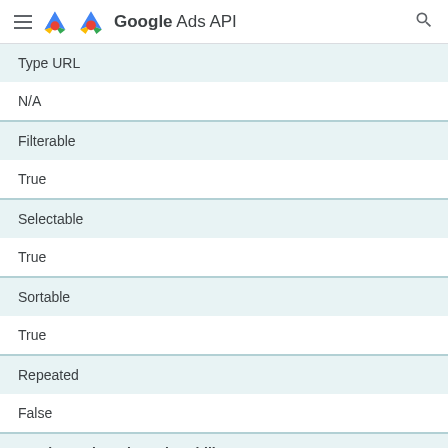Google Ads API
| Property | Value |
| --- | --- |
| Type URL | N/A |
| Filterable | True |
| Selectable | True |
| Sortable | True |
| Repeated | False |
| metrics.active_view_viewability |  |